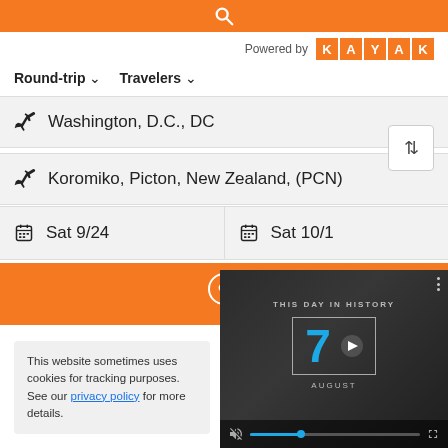[Figure (screenshot): Orange bar with search icon at top]
Powered by KAYAK
Round-trip ∨  Travelers ∨
Washington, D.C., DC
Koromiko, Picton, New Zealand, (PCN)
Sat 9/24
Sat 10/1
[Figure (screenshot): Orange search button bar]
This website sometimes uses cookies for tracking purposes. See our privacy policy for more details.
[Figure (screenshot): This Day in History video overlay showing number 7, August, with playback controls]